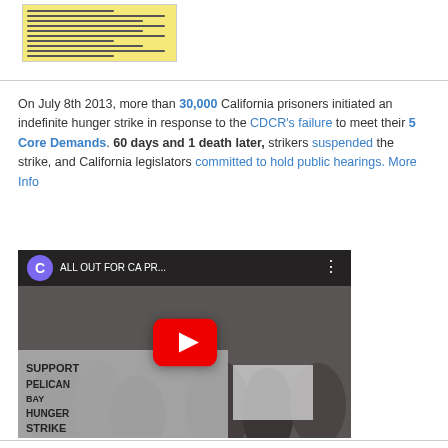[Figure (screenshot): Thumbnail of a yellow document with small text listing demands]
On July 8th 2013, more than 30,000 California prisoners initiated an indefinite hunger strike in response to the CDCR's failure to meet their 5 Core Demands. 60 days and 1 death later, strikers suspended the strike, and California legislators committed to hold public hearings. More Info
[Figure (screenshot): YouTube video thumbnail showing protest crowd holding signs reading SUPPORT PELICAN BAY HUNGER STRIKE with title ALL OUT FOR CA PR...]